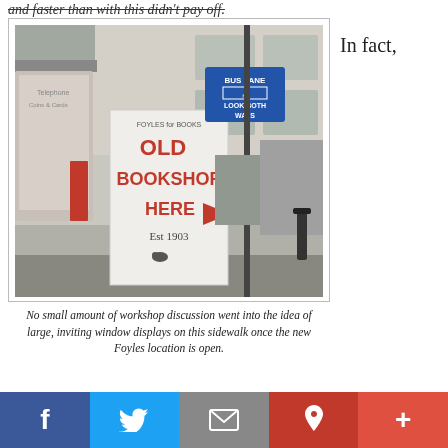and faster than with this didn't pay off.
[Figure (photo): Street scene showing a Foyles bookshop advertising sign/kiosk reading 'FOYLES for BOOKS / OLD BOOKSHOP HERE → / Est 1903' with a red arrow, next to a bus stop with a 'BUS LANE / LOOK BOTH WAYS' sign, on a London street with a phone booth visible.]
No small amount of workshop discussion went into the idea of large, inviting window displays on this sidewalk once the new Foyles location is open.
In fact,
[Figure (infographic): Social sharing bar with Facebook, Twitter, Email, Pinterest, and plus buttons]